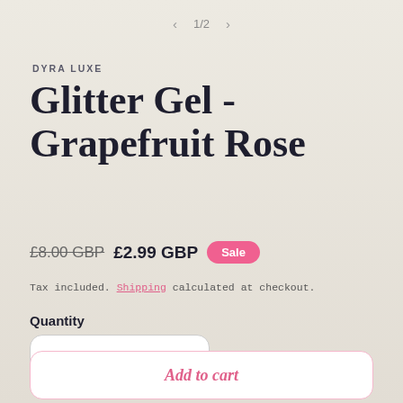< 1/2 >
DYRA LUXE
Glitter Gel - Grapefruit Rose
£8.00 GBP  £2.99 GBP  Sale
Tax included. Shipping calculated at checkout.
Quantity
− 1 +
Add to cart